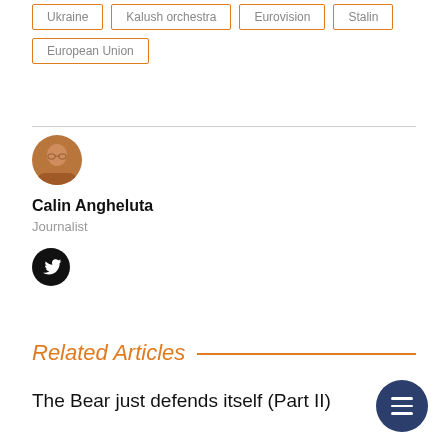Ukraine
Kalush orchestra
Eurovision
Stalin
European Union
[Figure (photo): Circular avatar photo of Calin Angheluta]
Calin Angheluta
Journalist
[Figure (logo): Twitter bird icon in black circle]
Related Articles
The Bear just defends itself (Part II)